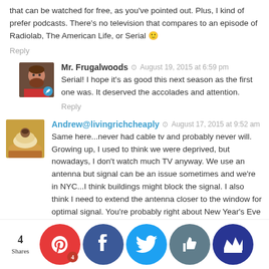that can be watched for free, as you've pointed out. Plus, I kind of prefer podcasts. There's no television that compares to an episode of Radiolab, The American Life, or Serial 🙂
Reply
Mr. Frugalwoods  ·  August 19, 2015 at 6:59 pm
Serial! I hope it's as good this next season as the first one was. It deserved the accolades and attention.
Reply
Andrew@livingrichcheaply  ·  August 17, 2015 at 9:52 am
Same here...never had cable tv and probably never will. Growing up, I used to think we were deprived, but nowadays, I don't watch much TV anyway. We use an antenna but signal can be an issue sometimes and we're in NYC...I think buildings might block the signal. I also think I need to extend the antenna closer to the window for optimal signal. You're probably right about New Year's Eve ball drop with a little one...my wife and I both fell asleep, though I did manage to wake up to see it...and promptly went back to sleep!
Reply